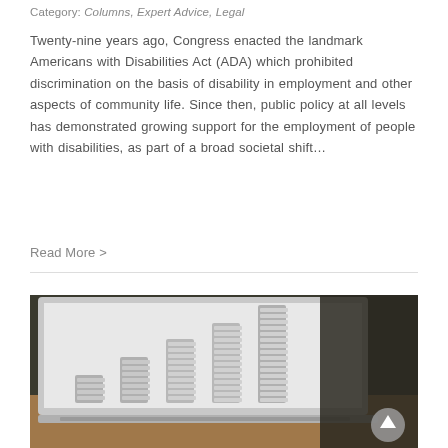Category: Columns, Expert Advice, Legal
Twenty-nine years ago, Congress enacted the landmark Americans with Disabilities Act (ADA) which prohibited discrimination on the basis of disability in employment and other aspects of community life. Since then, public policy at all levels has demonstrated growing support for the employment of people with disabilities, as part of a broad societal shift...
Read More >
[Figure (photo): Laptop computer displaying stacked coins arranged in ascending height order on its screen, placed on a wooden surface. A circular scroll-up button is visible in the bottom right corner.]